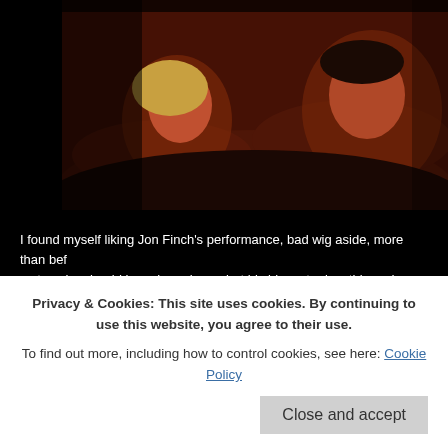[Figure (photo): Two people lying in bed under red/orange dramatic lighting against a dark background. A blonde woman on the left looks directly at camera with a serious expression; a dark-haired man on the right looks upward with a fearful expression, gripping bedclothes.]
I found myself liking Jon Finch's performance, bad wig aside, more than before; a star who should have been huge, but his biggest roles, this and FRENZY, do him the most justice, I always felt. His perf in THE FINAL PROGRAMME, on the other hand, MY GOD that is a star turn. But now I think I was too harsh on his Macbeth; there didn't seem a single point where he didn't have exactly the r...
Privacy & Cookies: This site uses cookies. By continuing to use this website, you agree to their use.
To find out more, including how to control cookies, see here: Cookie Policy